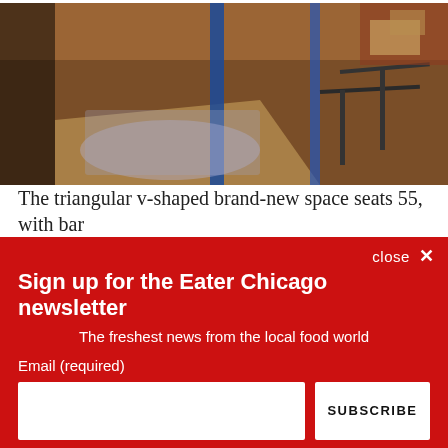[Figure (photo): Interior of a restaurant under construction or renovation, showing tables covered with plastic sheeting, metal table frames, boxes, and sunlight streaming through windows. Brick walls and blue metal posts visible.]
The triangular v-shaped brand-new space seats 55, with bar
close ✕
Sign up for the Eater Chicago newsletter
The freshest news from the local food world
Email (required)
SUBSCRIBE
By submitting your email, you agree to our Terms and Privacy Notice. You can opt out at any time. This site is protected by reCAPTCHA and the Google Privacy Policy and Terms of Service apply.